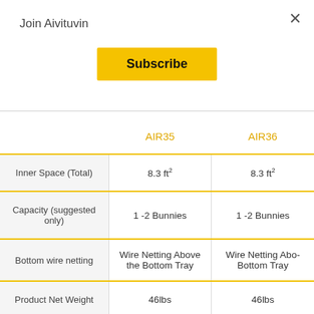×
Join Aivituvin
Subscribe
|  | AIR35 | AIR36 |
| --- | --- | --- |
| Inner Space (Total) | 8.3 ft² | 8.3 ft² |
| Capacity (suggested only) | 1 -2 Bunnies | 1 -2 Bunnies |
| Bottom wire netting | Wire Netting Above the Bottom Tray | Wire Netting Above the Bottom Tray |
| Product Net Weight | 46lbs | 46lbs |